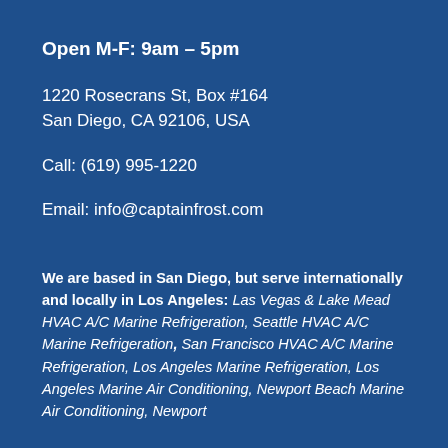Open M-F: 9am – 5pm
1220 Rosecrans St, Box #164
San Diego, CA 92106, USA
Call: (619) 995-1220
Email: info@captainfrost.com
We are based in San Diego, but serve internationally and locally in Los Angeles: Las Vegas & Lake Mead HVAC A/C Marine Refrigeration, Seattle HVAC A/C Marine Refrigeration, San Francisco HVAC A/C Marine Refrigeration, Los Angeles Marine Refrigeration, Los Angeles Marine Air Conditioning, Newport Beach Marine Air Conditioning, Newport